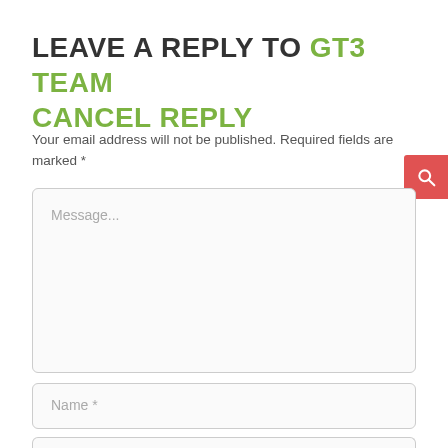LEAVE A REPLY TO GT3 TEAM CANCEL REPLY
Your email address will not be published. Required fields are marked *
[Figure (screenshot): Web form with a large Message textarea, a Name field, and a partial email field. A red search button appears at the right edge.]